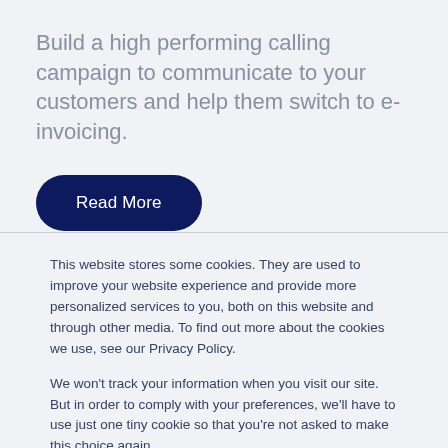Build a high performing calling campaign to communicate to your customers and help them switch to e-invoicing.
Read More
This website stores some cookies. They are used to improve your website experience and provide more personalized services to you, both on this website and through other media. To find out more about the cookies we use, see our Privacy Policy.
We won't track your information when you visit our site. But in order to comply with your preferences, we'll have to use just one tiny cookie so that you're not asked to make this choice again.
Accept
Decline